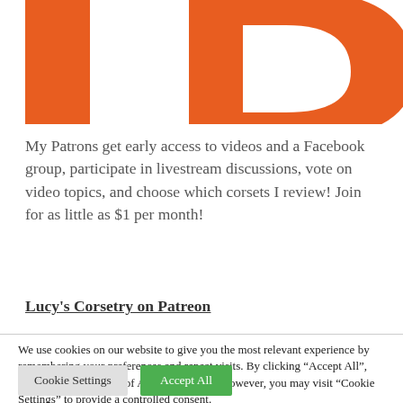[Figure (logo): Partial Patreon logo in orange — large letters partially visible at the top of the page]
My Patrons get early access to videos and a Facebook group, participate in livestream discussions, vote on video topics, and choose which corsets I review! Join for as little as $1 per month!
Lucy's Corsetry on Patreon
We use cookies on our website to give you the most relevant experience by remembering your preferences and repeat visits. By clicking “Accept All”, you consent to the use of ALL the cookies. However, you may visit "Cookie Settings" to provide a controlled consent.